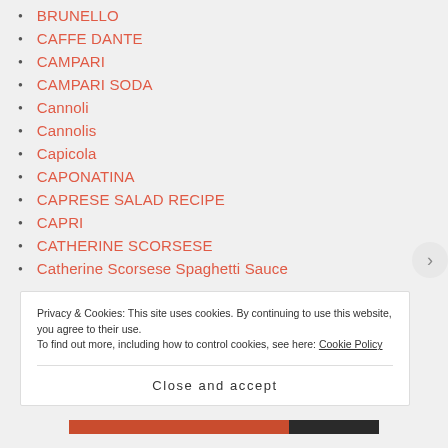BRUNELLO
CAFFE DANTE
CAMPARI
CAMPARI SODA
Cannoli
Cannolis
Capicola
CAPONATINA
CAPRESE SALAD RECIPE
CAPRI
CATHERINE SCORSESE
Catherine Scorsese Spaghetti Sauce
Privacy & Cookies: This site uses cookies. By continuing to use this website, you agree to their use. To find out more, including how to control cookies, see here: Cookie Policy
Close and accept